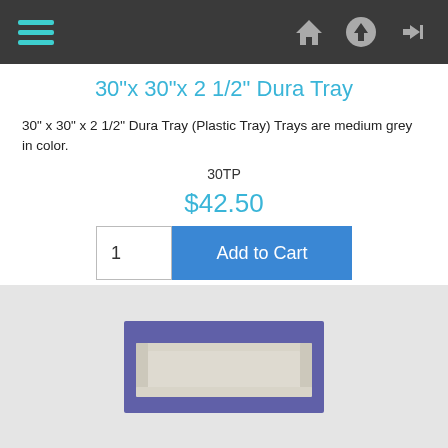Navigation bar with hamburger menu and icons
30"x 30"x 2 1/2" Dura Tray
30" x 30" x 2 1/2" Dura Tray (Plastic Tray) Trays are medium grey in color.
30TP
$42.50
1  Add to Cart
[Figure (photo): Photo of a rectangular grey plastic dura tray viewed from above at an angle, showing raised edges, against a purple/blue background.]